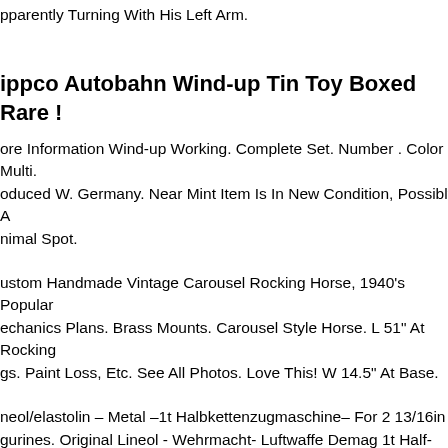parently Turning With His Left Arm.
ippco Autobahn Wind-up Tin Toy Boxed Rare !
ore Information Wind-up Working. Complete Set. Number . Color Multi. oduced W. Germany. Near Mint Item Is In New Condition, Possibly A nimal Spot.
ustom Handmade Vintage Carousel Rocking Horse, 1940's Popular echanics Plans. Brass Mounts. Carousel Style Horse. L 51" At Rocking gs. Paint Loss, Etc. See All Photos. Love This! W 14.5" At Base.
neol/elastolin – Metal –1t Halbkettenzugmaschine– For 2 13/16in gurines. Original Lineol - Wehrmacht- Luftwaffe Demag 1t Half-chain actor (sd. Vehicle 10) (metal) With 6 Wehrmacht Luftwaffe Figures, In laborate Metal Production. Wheels And Link Chain Fully Moveable eerable, Rollable, Single Link Chain, All Flaps Can Be Opened, Bonnet emovable, Original Engine Replica, Real Fabric Tarpaulin,,7cm Series, eautiful Original Condition - See Picture The Decorative Material Shown Is ot Part Of The Offer. A Piece Of Handmade History !!!! - An Absolute Top